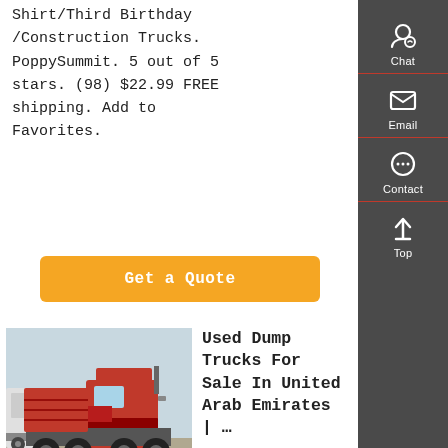Shirt/Third Birthday/Construction Trucks. PoppySummit. 5 out of 5 stars. (98) $22.99 FREE shipping. Add to Favorites.
Get a Quote
[Figure (photo): Red dump/semi truck parked in a lot with other trucks visible in the background.]
Used Dump Trucks For Sale In United Arab Emirates | …
Used dump trucks for sale in United Arab